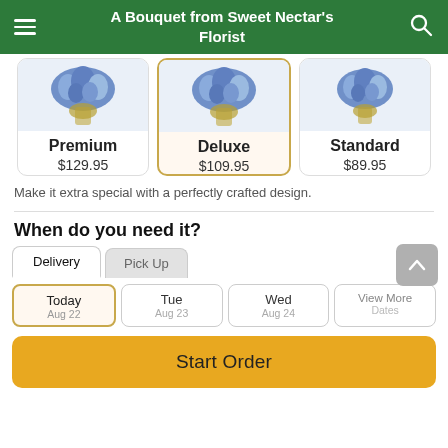A Bouquet from Sweet Nectar's Florist
[Figure (photo): Three product option cards showing flower bouquets in glass vases: Premium $129.95, Deluxe $109.95 (selected), Standard $89.95]
Make it extra special with a perfectly crafted design.
When do you need it?
Delivery | Pick Up tabs
Today | Tue | Wed | View More Dates
Start Order